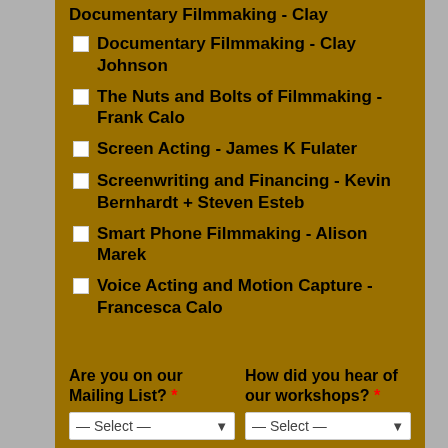Documentary Filmmaking - Clay Johnson
The Nuts and Bolts of Filmmaking - Frank Calo
Screen Acting - James K Fulater
Screenwriting and Financing - Kevin Bernhardt + Steven Esteb
Smart Phone Filmmaking - Alison Marek
Voice Acting and Motion Capture - Francesca Calo
Are you on our Mailing List? *
How did you hear of our workshops? *